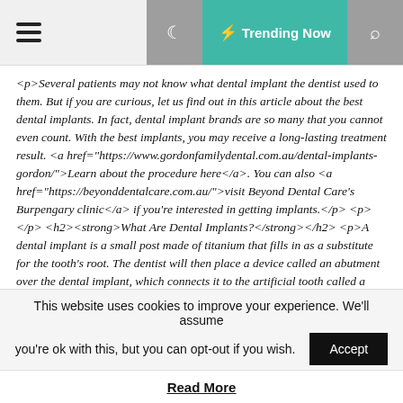≡  🌙  ⚡ Trending Now  🔍
<p>Several patients may not know what dental implant the dentist used to them. But if you are curious, let us find out in this article about the best dental implants. In fact, dental implant brands are so many that you cannot even count. With the best implants, you may receive a long-lasting treatment result. <a href="https://www.gordonfamilydental.com.au/dental-implants-gordon/">Learn about the procedure here</a>. You can also <a href="https://beyonddentalcare.com.au/">visit Beyond Dental Care's Burpengary clinic</a> if you're interested in getting implants.</p> <p> </p> <h2><strong>What Are Dental Implants?</strong></h2> <p>A dental implant is a small post made of titanium that fills in as a substitute for the tooth's root. The dentist will then place a device called an abutment over the dental implant, which connects it to the artificial tooth called a
This website uses cookies to improve your experience. We'll assume you're ok with this, but you can opt-out if you wish.
Read More